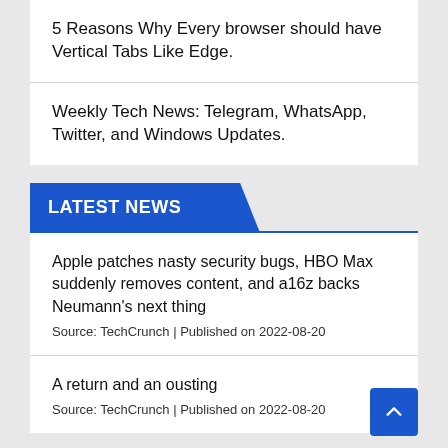5 Reasons Why Every browser should have Vertical Tabs Like Edge.
Weekly Tech News: Telegram, WhatsApp, Twitter, and Windows Updates.
LATEST NEWS
Apple patches nasty security bugs, HBO Max suddenly removes content, and a16z backs Neumann's next thing
Source: TechCrunch | Published on 2022-08-20
A return and an ousting
Source: TechCrunch | Published on 2022-08-20